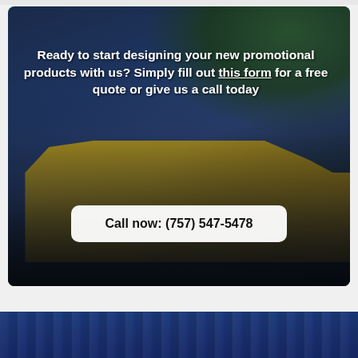[Figure (photo): A promotional vehicle (yellow van) with company branding/logo on a road with trees in the background. The image has a dark overlay. White bold text overlaid on the photo reads: 'Ready to start designing your new promotional products with us? Simply fill out this form for a free quote or give us a call today'. A white rounded button overlaid reads 'Call now: (757) 547-5478'.]
Ready to start designing your new promotional products with us? Simply fill out this form for a free quote or give us a call today
Call now: (757) 547-5478
[Figure (photo): Bottom strip showing a dark navy blue ribbed/corrugated metal background, partial view.]